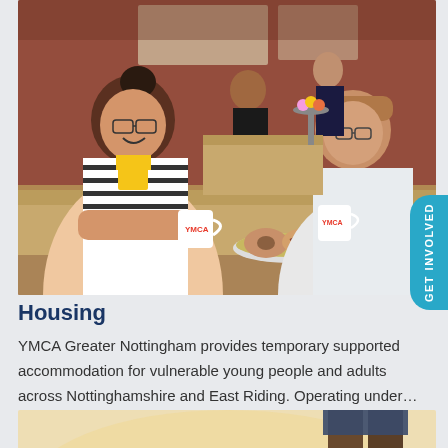[Figure (photo): Two people laughing and talking at a wooden table with YMCA mugs and pastries. Brick wall background with more people in the background. A 'GET INVOLVED' tab is visible on the right side.]
Housing
YMCA Greater Nottingham provides temporary supported accommodation for vulnerable young people and adults across Nottinghamshire and East Riding. Operating under…
[Figure (photo): Partial photo at the bottom showing a person's legs/lower body against a light background.]